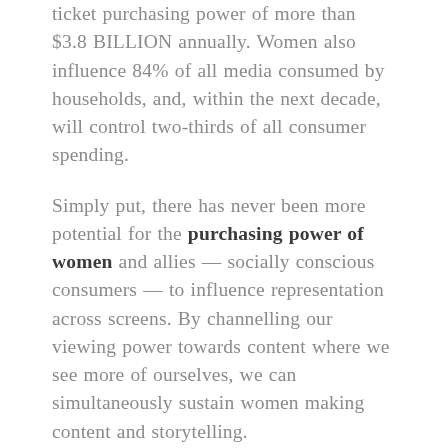ticket purchasing power of more than $3.8 BILLION annually. Women also influence 84% of all media consumed by households, and, within the next decade, will control two-thirds of all consumer spending.
Simply put, there has never been more potential for the purchasing power of women and allies — socially conscious consumers — to influence representation across screens. By channelling our viewing power towards content where we see more of ourselves, we can simultaneously sustain women making content and storytelling.
Tanji also amplifies woman-identified film critics. Critics influence audiences and box office success. At a time when turning out for...